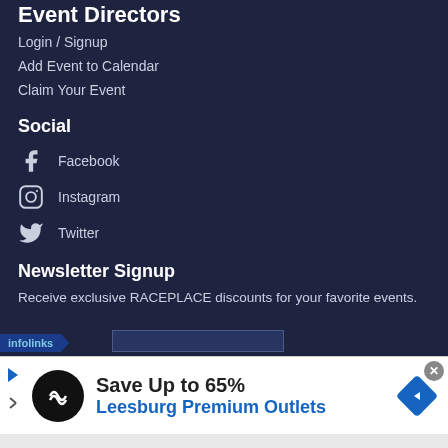Event Directors
Login / Signup
Add Event to Calendar
Claim Your Event
Social
Facebook
Instagram
Twitter
Newsletter Signup
Receive exclusive RACEPLACE discounts for your favorite events.
[Figure (screenshot): infolinks bar at bottom of dark section with email input]
[Figure (screenshot): Advertisement banner: Save Up to 65% Leesburg Premium Outlets with logo and navigation icon, close button]